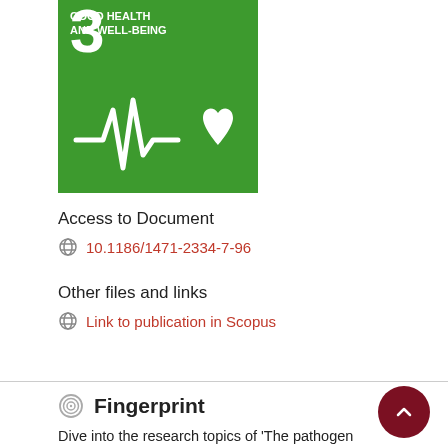[Figure (logo): UN SDG Goal 3 - Good Health and Well-Being badge, green background with white heartbeat/ECG line and heart icon, number 3 in top left, text 'GOOD HEALTH AND WELL-BEING']
Access to Document
10.1186/1471-2334-7-96
Other files and links
Link to publication in Scopus
Fingerprint
Dive into the research topics of 'The pathogen recognition sensor, NOD2, is variably expressed in patients with pulmonary tuberculosis'. Together they